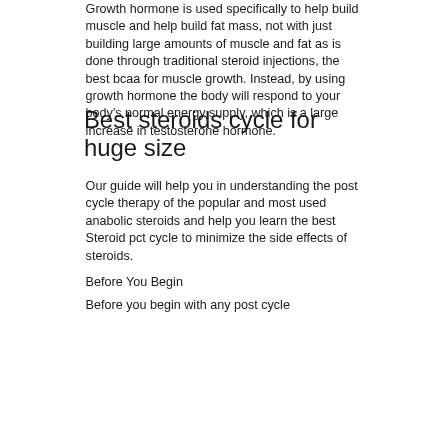Growth hormone is used specifically to help build muscle and help build fat mass, not with just building large amounts of muscle and fat as is done through traditional steroid injections, the best bcaa for muscle growth. Instead, by using growth hormone the body will respond to your body's normal energy supply, which is a large increase in testosterone hormone.
Best steroids cycle for huge size
Our guide will help you in understanding the post cycle therapy of the popular and most used anabolic steroids and help you learn the best Steroid pct cycle to minimize the side effects of steroids.
Before You Begin
Before you begin with any post cycle